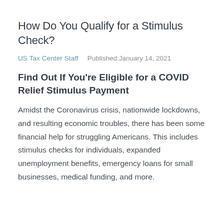How Do You Qualify for a Stimulus Check?
US Tax Center Staff    Published:January 14, 2021
Find Out If You're Eligible for a COVID Relief Stimulus Payment
Amidst the Coronavirus crisis, nationwide lockdowns, and resulting economic troubles, there has been some financial help for struggling Americans. This includes stimulus checks for individuals, expanded unemployment benefits, emergency loans for small businesses, medical funding, and more.